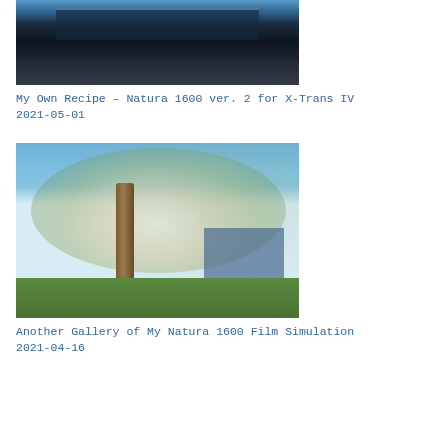[Figure (photo): Cropped photo showing underside of an elevated train track structure with blue/steel beams and dark rails against a dark background]
My Own Recipe – Natura 1600 ver. 2 for X-Trans IV
2021-05-01
[Figure (photo): Photo of a tree in full white blossom bloom on a suburban street with blue sky background, green grass, and blue buildings visible in the background]
Another Gallery of My Natura 1600 Film Simulation
2021-04-16